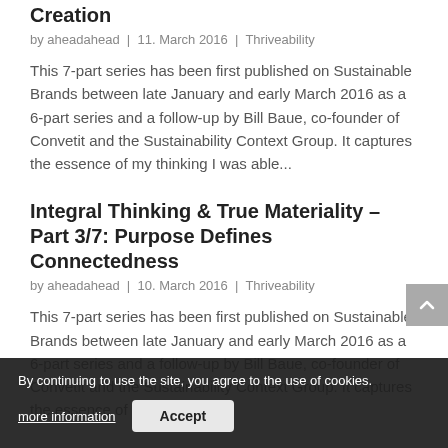Success Definition For True Future Value Creation
by aheadahead | 11. March 2016 | Thriveability
This 7-part series has been first published on Sustainable Brands between late January and early March 2016 as a 6-part series and a follow-up by Bill Baue, co-founder of Convetit and the Sustainability Context Group. It captures the essence of my thinking I was able...
Integral Thinking & True Materiality – Part 3/7: Purpose Defines Connectedness
by aheadahead | 10. March 2016 | Thriveability
This 7-part series has been first published on Sustainable Brands between late January and early March 2016 as a 6-part series and a follow-up by Bill Baue, co-founder of Convetit and the Sustainability Context Group. It captures the essence of my
By continuing to use the site, you agree to the use of cookies. more information Accept